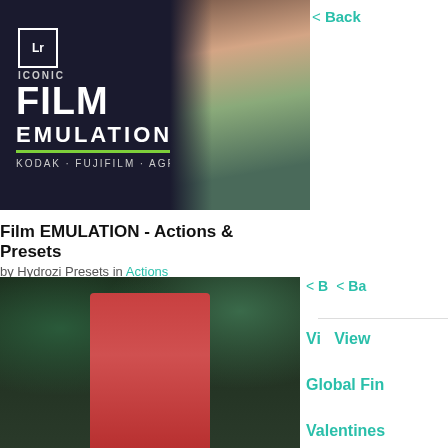< Back
[Figure (photo): Film EMULATION Actions & Presets banner with ICONIC FILM EMULATION text, Lr badge, KODAK·FUJIFILM·AGFA brands, and a woman in floral dress in the background]
Film EMULATION - Actions & Presets
by Hydrozi Presets in Actions
< B   < Ba
[Figure (photo): Woman in red halter dress standing in a garden with dark green hedges]
Vi   View
Global Fin
Valentines
Procreate